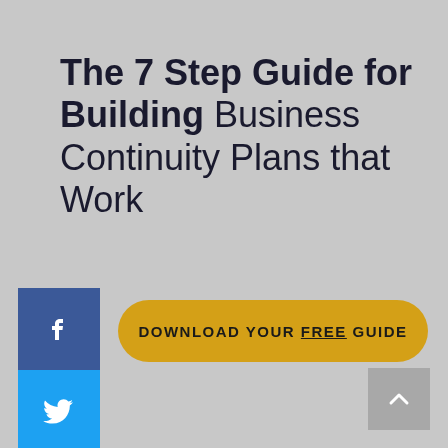The 7 Step Guide for Building Business Continuity Plans that Work
[Figure (other): Yellow rounded rectangle CTA button with text DOWNLOAD YOUR FREE GUIDE]
[Figure (other): Social share sidebar with Facebook, Twitter, and LinkedIn icons]
[Figure (other): Scroll-to-top button in grey at bottom right]